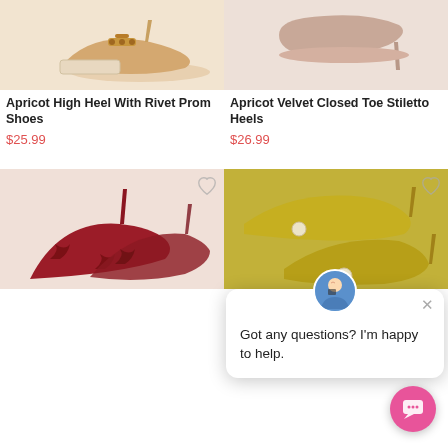[Figure (photo): Apricot/beige high heel shoe with gold rivet detail on white background]
Apricot High Heel With Rivet Prom Shoes
$25.99
[Figure (photo): Apricot velvet closed toe stiletto heel shoe on white/grey background]
Apricot Velvet Closed Toe Stiletto Heels
$26.99
[Figure (photo): Dark red/burgundy satin pointed toe high heel with bow detail on white background]
[Figure (photo): Yellow/chartreuse pointed toe stiletto heels with pearl button on textured background]
[Figure (screenshot): Chat support popup with avatar of customer service agent and message: Got any questions? I'm happy to help. With X close button and pink chat FAB button.]